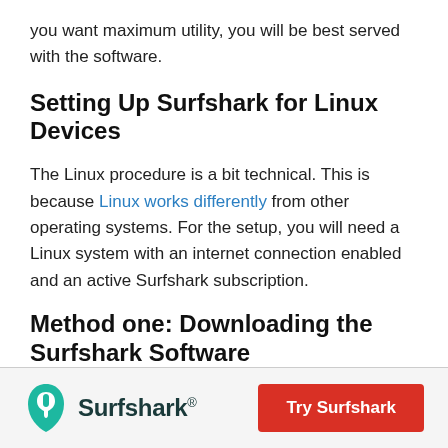you want maximum utility, you will be best served with the software.
Setting Up Surfshark for Linux Devices
The Linux procedure is a bit technical. This is because Linux works differently from other operating systems. For the setup, you will need a Linux system with an internet connection enabled and an active Surfshark subscription.
Method one: Downloading the Surfshark Software
[Figure (logo): Surfshark logo with teal shark fin icon and wordmark 'Surfshark®']
Try Surfshark